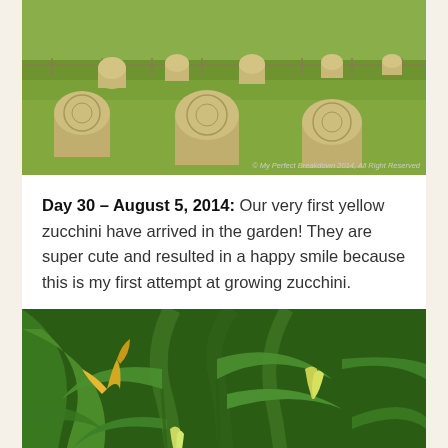[Figure (photo): Aerial/landscape photo of a green field with multiple round hay bales scattered across it, with a fence line visible in the background. Copyright watermark reads: © My Perfect Breakdown 2014, All Right Reserved]
Day 30 – August 5, 2014: Our very first yellow zucchini have arrived in the garden! They are super cute and resulted in a happy smile because this is my first attempt at growing zucchini.
[Figure (photo): Close-up macro photo of zucchini plants growing in a garden, showing green leaves, stems, and yellow zucchini blooms/flowers and small developing yellow zucchini vegetables.]